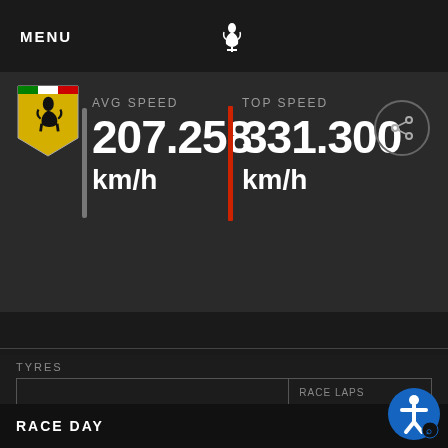MENU
AVG SPEED
207.258
km/h
TOP SPEED
331.300
km/h
TYRES
CHARLES
RACE LAPS
RACE DAY